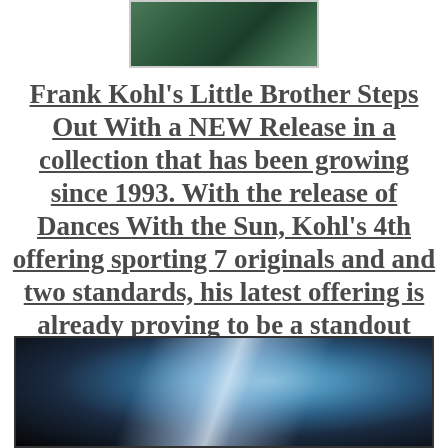[Figure (photo): Partial photo of what appears to be a nature or outdoor scene with green tones, partially cropped at the top of the page.]
Frank Kohl's Little Brother Steps Out With a NEW Release in a collection that has been growing since 1993. With the release of Dances With the Sun, Kohl's 4th offering sporting 7 originals and and two standards, his latest offering is already proving to be a standout date of excellence.
[Figure (photo): Photo of what appears to be a metallic instrument (possibly a harmonica or similar instrument) with blue and silver reflective tones against a dark background.]